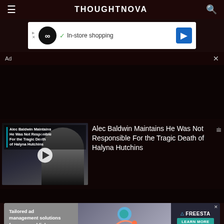THOUGHTNOVA
[Figure (screenshot): Advertisement banner: Google shopping ad with infinity loop logo, checkmark, 'In-store shopping' text, and blue navigation arrow icon]
Ad  ×
[Figure (screenshot): Dark background area serving as video content space]
[Figure (photo): Video thumbnail showing Alec Baldwin with overlay text: 'Alec Baldwin Maintains He Was Not Responsible For the Tragic Death of Halyna Hutchins' with play button]
Alec Baldwin Maintains He Was Not Responsible For the Tragic Death of Halyna Hutchins
[Figure (screenshot): Bottom advertisement: Tailored ad management solutions for every publisher - Freesta ad with Learn More button]